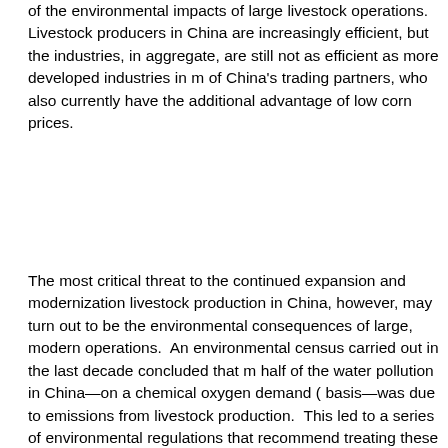of the environmental impacts of large livestock operations. Livestock producers in China are increasingly efficient, but the industries, in aggregate, are still not as efficient as more developed industries in many of China's trading partners, who also currently have the additional advantage of low corn prices.
The most critical threat to the continued expansion and modernization of livestock production in China, however, may turn out to be the environmental consequences of large, modern operations. An environmental census carried out in the last decade concluded that more than half of the water pollution in China—on a chemical oxygen demand (COD) basis—was due to emissions from livestock production. This led to a series of environmental regulations that recommend treating these emissions rather than using them as a substitute for chemical fertilizer. These policies further raise the costs of livestock production in China. The findings led several prominent specialists to argue that China should procure additional livestock products from other countries that have more land and water resources to support production. Indeed, other Asian neighbors that have higher incomes but also have high population densities and limited land and water resources tend to import a far higher